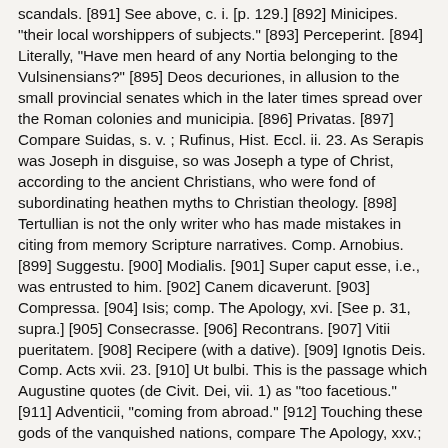scandals. [891] See above, c. i. [p. 129.] [892] Minicipes. "their local worshippers of subjects." [893] Perceperint. [894] Literally, "Have men heard of any Nortia belonging to the Vulsinensians?" [895] Deos decuriones, in allusion to the small provincial senates which in the later times spread over the Roman colonies and municipia. [896] Privatas. [897] Compare Suidas, s. v. ; Rufinus, Hist. Eccl. ii. 23. As Serapis was Joseph in disguise, so was Joseph a type of Christ, according to the ancient Christians, who were fond of subordinating heathen myths to Christian theology. [898] Tertullian is not the only writer who has made mistakes in citing from memory Scripture narratives. Comp. Arnobius. [899] Suggestu. [900] Modialis. [901] Super caput esse, i.e., was entrusted to him. [902] Canem dicaverunt. [903] Compressa. [904] Isis; comp. The Apology, xvi. [See p. 31, supra.] [905] Consecrasse. [906] Recontrans. [907] Vitii pueritatem. [908] Recipere (with a dative). [909] Ignotis Deis. Comp. Acts xvii. 23. [910] Ut bulbi. This is the passage which Augustine quotes (de Civit. Dei, vii. 1) as "too facetious." [911] Adventicii, "coming from abroad." [912] Touching these gods of the vanquished nations, compare The Apology, xxv.; below, c. xvii.; Minucious Felix, Octav. xxv. [913] Diligentem. [914] See Homer, Il. v. 300. [915] Invenitur. [916] Referred to also above, i. 18. [917] The obscure "formam et patrem" is by Oehler rendered "pulchritudinem et generis nobiltatem."